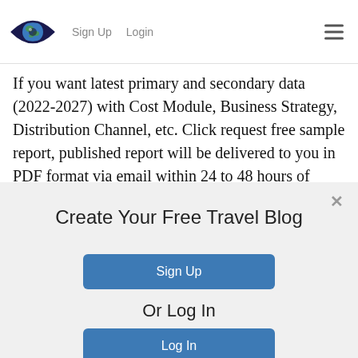Sign Up  Login
If you want latest primary and secondary data (2022-2027) with Cost Module, Business Strategy, Distribution Channel, etc. Click request free sample report, published report will be delivered to you in PDF format via email within 24 to 48 hours of receiving full payment.
Create Your Free Travel Blog
Sign Up
Or Log In
Log In